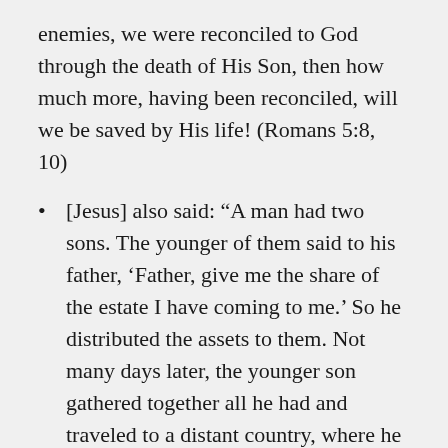enemies, we were reconciled to God through the death of His Son, then how much more, having been reconciled, will we be saved by His life! (Romans 5:8, 10)
[Jesus] also said: “A man had two sons. The younger of them said to his father, ‘Father, give me the share of the estate I have coming to me.’ So he distributed the assets to them. Not many days later, the younger son gathered together all he had and traveled to a distant country, where he squandered his estate in foolish living. After he had spent everything, a severe famine struck that